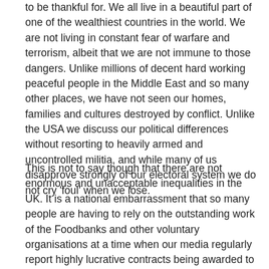to be thankful for. We all live in a beautiful part of one of the wealthiest countries in the world. We are not living in constant fear of warfare and terrorism, albeit that we are not immune to those dangers. Unlike millions of decent hard working peaceful people in the Middle East and so many other places, we have not seen our homes, families and cultures destroyed by conflict. Unlike the USA we discuss our political differences without resorting to heavily armed and uncontrolled militia, and while many of us disapprove strongly of our electoral system we do not cry 'foul' when we lose.
This is not to say though that there are not enormous and unacceptable inequalities in the UK. It is a national embarrassment that so many people are having to rely on the outstanding work of the Foodbanks and other voluntary organisations at a time when our media regularly report highly lucrative contracts being awarded to political cronies with minimal scrutiny. The Government's